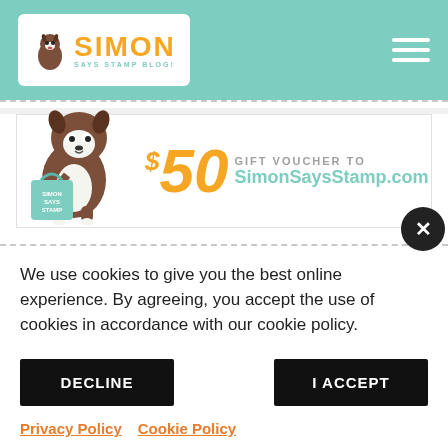Simon Says Stamp Blog - Header navigation
[Figure (illustration): $50 Gift Voucher banner with Boston Terrier dog mascot holding Simon Says Stamp shopping bag, text: $50 GIFT VOUCHER TO SimonSaysStamp.com]
We use cookies to give you the best online experience. By agreeing, you accept the use of cookies in accordance with our cookie policy.
DECLINE
I ACCEPT
Privacy Policy   Cookie Policy